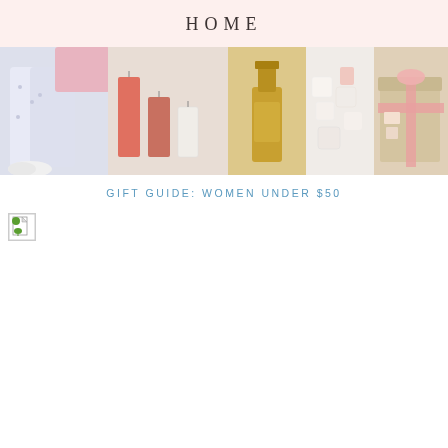HOME
[Figure (photo): Collage banner image showing gift items: person in pajamas/slippers, pink/orange/white pillar candles, gold tequila bottle, marshmallow/chocolate treats, and a gift box — gift guide for women under $50]
GIFT GUIDE: WOMEN UNDER $50
[Figure (photo): Broken/missing image placeholder with small icon]